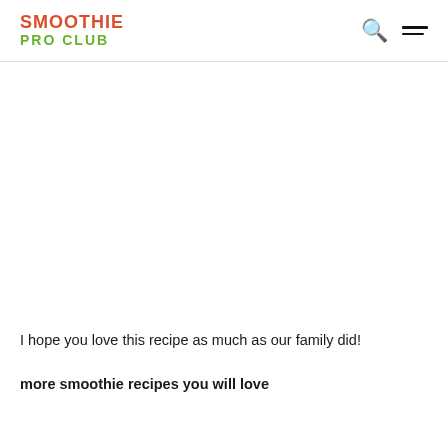SMOOTHIE PRO CLUB
I hope you love this recipe as much as our family did!
more smoothie recipes you will love